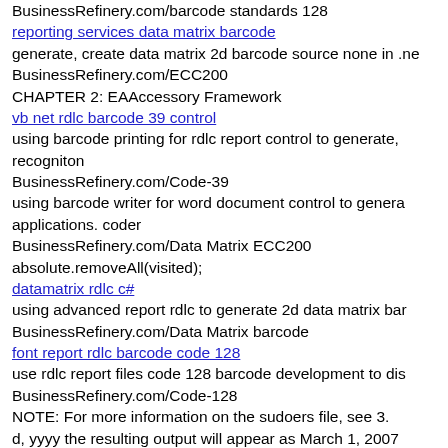BusinessRefinery.com/barcode standards 128
reporting services data matrix barcode
generate, create data matrix 2d barcode source none in .ne
BusinessRefinery.com/ECC200
CHAPTER 2: EAAccessory Framework
vb net rdlc barcode 39 control
using barcode printing for rdlc report control to generate, recogniton
BusinessRefinery.com/Code-39
using barcode writer for word document control to generate applications. coder
BusinessRefinery.com/Data Matrix ECC200
absolute.removeAll(visited);
datamatrix rdlc c#
using advanced report rdlc to generate 2d data matrix bar
BusinessRefinery.com/Data Matrix barcode
font report rdlc barcode code 128
use rdlc report files code 128 barcode development to dis
BusinessRefinery.com/Code-128
NOTE: For more information on the sudoers file, see 3.
d, yyyy the resulting output will appear as March 1, 2007
yyyy=2007.
DisposableBean BeanFactory
drivers, as discussed in 8, although you should also update to see if the open source graphics drivers have been updated